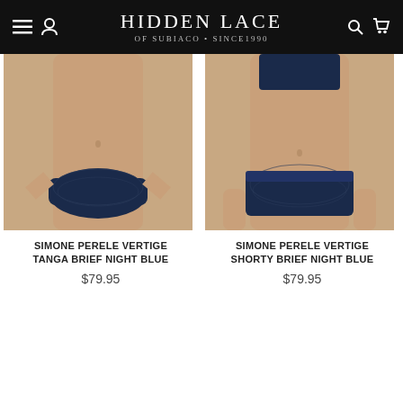Hidden Lace of Subiaco • Since 1990
[Figure (photo): Product photo: Simone Perele Vertige Tanga Brief Night Blue lingerie on model, front view, close-cropped torso shot]
SIMONE PERELE VERTIGE TANGA BRIEF NIGHT BLUE
$79.95
[Figure (photo): Product photo: Simone Perele Vertige Shorty Brief Night Blue lingerie on model, front view, close-cropped torso shot with bra visible at top]
SIMONE PERELE VERTIGE SHORTY BRIEF NIGHT BLUE
$79.95